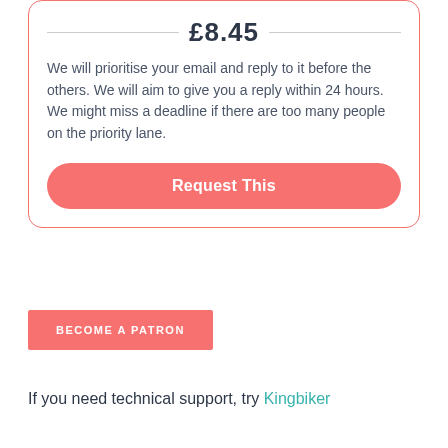£8.45
We will prioritise your email and reply to it before the others. We will aim to give you a reply within 24 hours. We might miss a deadline if there are too many people on the priority lane.
Request This
BECOME A PATRON
If you need technical support, try Kingbiker